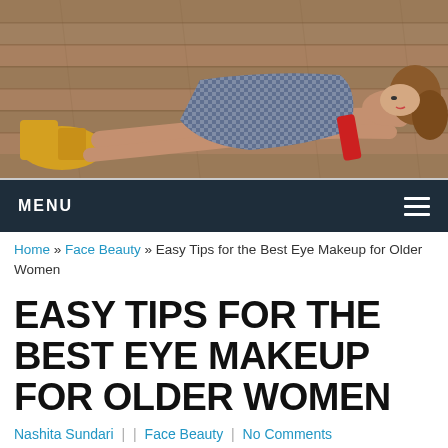[Figure (photo): Woman lying on wooden planks wearing a blue checkered dress and yellow boots, resting head on arm with a red accessory nearby]
MENU
Home » Face Beauty » Easy Tips for the Best Eye Makeup for Older Women
EASY TIPS FOR THE BEST EYE MAKEUP FOR OLDER WOMEN
Nashita Sundari  |   |  Face Beauty  |  No Comments
WHEN CHOOSING EYE MAKEUP FOR